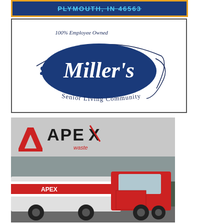[Figure (logo): Blue banner with 'PLYMOUTH, IN 46563' text in cyan with orange border]
[Figure (logo): Miller's Senior Living Community logo - 100% Employee Owned, blue oval with cursive Miller's text]
[Figure (logo): Apex Waste logo on grey background with red and black lettering, plus photo of red and white Apex waste truck]